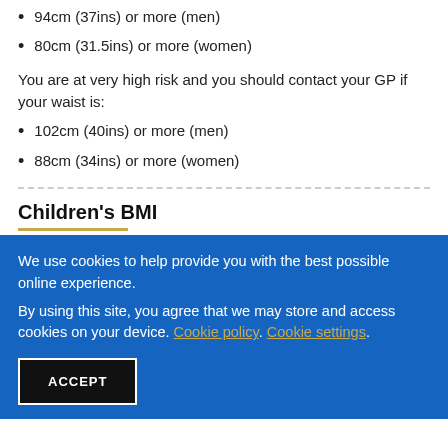94cm (37ins) or more (men)
80cm (31.5ins) or more (women)
You are at very high risk and you should contact your GP if your waist is:
102cm (40ins) or more (men)
88cm (34ins) or more (women)
Children's BMI
We use cookies to help provide you with the best possible online experience.
By using this site, you agree that we may store and access cookies on your device. Cookie policy. Cookie settings.
ACCEPT